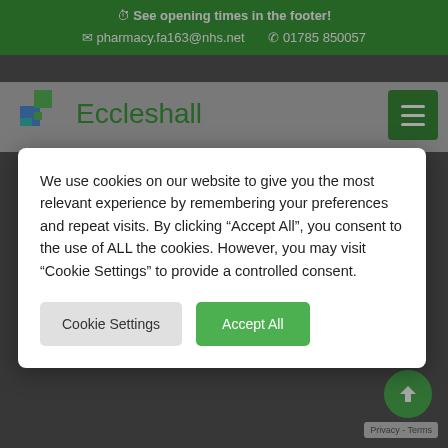⊙ See opening times in the footer! ✉ pharmacy.fa163@nhs.net ☏ 01785 850057
[Figure (screenshot): Eccleshall Pharmacy website header with green logo cross and navigation]
We use cookies on our website to give you the most relevant experience by remembering your preferences and repeat visits. By clicking "Accept All", you consent to the use of ALL the cookies. However, you may visit "Cookie Settings" to provide a controlled consent.
Cookie Settings   Accept All
Prescription Delivery Service